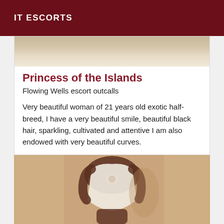IT ESCORTS
[Figure (photo): Partial photo visible at top of card showing a light background scene]
Princess of the Islands
Flowing Wells escort outcalls
Very beautiful woman of 21 years old exotic half-breed, I have a very beautiful smile, beautiful black hair, sparkling, cultivated and attentive I am also endowed with very beautiful curves.
[Figure (photo): Photo of a dark-skinned woman wearing a cream/white satin top and underwear, standing against a beige/peach background with her hand on her hip]